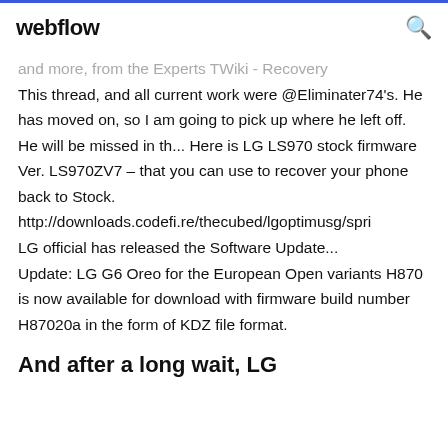webflow
and more, from the Experts TWiki - Recovery This thread, and all current work were @Eliminater74's. He has moved on, so I am going to pick up where he left off. He will be missed in th... Here is LG LS970 stock firmware Ver. LS970ZV7 – that you can use to recover your phone back to Stock. http://downloads.codefi.re/thecubed/lgoptimusg/spri LG official has released the Software Update... Update: LG G6 Oreo for the European Open variants H870 is now available for download with firmware build number H87020a in the form of KDZ file format.
And after a long wait, LG